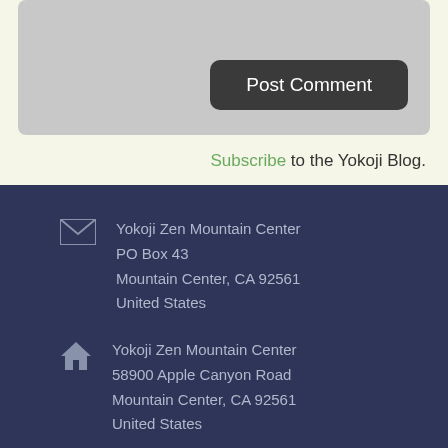[Figure (screenshot): Grey comment textarea box with Post Comment button]
Subscribe to the Yokoji Blog.
Yokoji Zen Mountain Center
PO Box 43
Mountain Center, CA 92561
United States
Yokoji Zen Mountain Center
58900 Apple Canyon Road
Mountain Center, CA 92561
United States